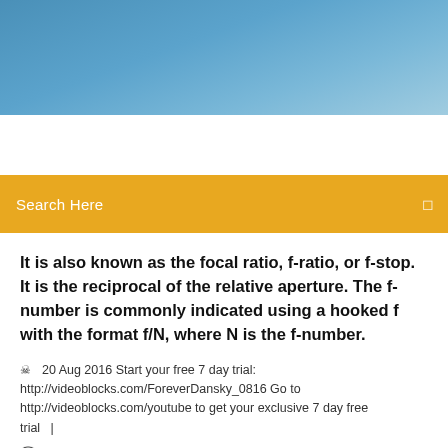[Figure (photo): Blue sky header image with gradient from medium blue to light blue]
Search Here
It is also known as the focal ratio, f-ratio, or f-stop. It is the reciprocal of the relative aperture. The f-number is commonly indicated using a hooked f with the format f/N, where N is the f-number.
20 Aug 2016 Start your free 7 day trial: http://videoblocks.com/ForeverDansky_0816 Go to http://videoblocks.com/youtube to get your exclusive 7 day free trial  |
5 Comments